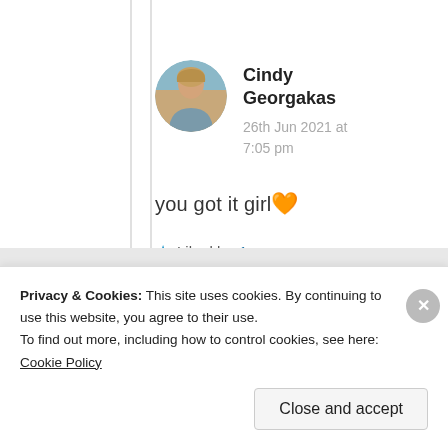[Figure (photo): Circular avatar photo of a woman (Cindy Georgakas) with blurred outdoor background]
Cindy
Georgakas
26th Jun 2021 at 7:05 pm
you got it girl ❤️
★ Liked by 1 person
Privacy & Cookies: This site uses cookies. By continuing to use this website, you agree to their use.
To find out more, including how to control cookies, see here: Cookie Policy
Close and accept